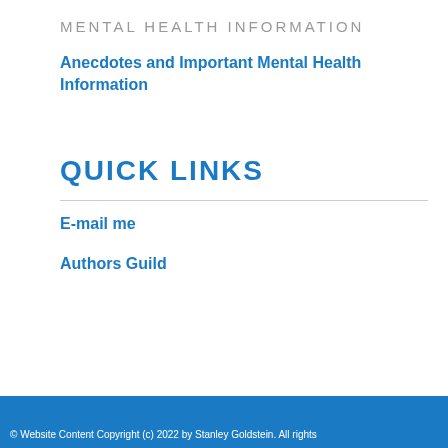MENTAL HEALTH INFORMATION
Anecdotes and Important Mental Health Information
QUICK LINKS
E-mail me
Authors Guild
© Website Content Copyright (c) 2022 by Stanley Goldstein. All rights